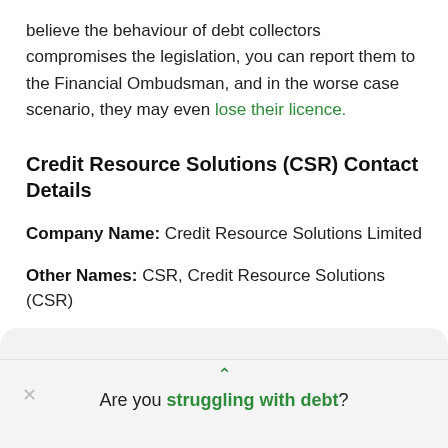believe the behaviour of debt collectors compromises the legislation, you can report them to the Financial Ombudsman, and in the worse case scenario, they may even lose their licence.
Credit Resource Solutions (CSR) Contact Details
Company Name: Credit Resource Solutions Limited
Other Names: CSR, Credit Resource Solutions (CSR)
Address:
Are you struggling with debt?